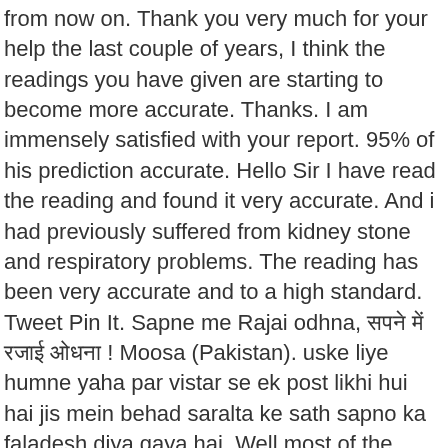from now on. Thank you very much for your help the last couple of years, I think the readings you have given are starting to become more accurate. Thanks. I am immensely satisfied with your report. 95% of his prediction accurate. Hello Sir I have read the reading and found it very accurate. And i had previously suffered from kidney stone and respiratory problems. The reading has been very accurate and to a high standard. Tweet Pin It. Sapne me Rajai odhna, सपने में रजाई ओधना ! Moosa (Pakistan). uske liye humne yaha par vistar se ek post likhi hui hai jis mein behad saralta ke sath sapno ka faladesh diya gaya hai. Well most of the things you said are true i mean my nature, i have phobias, think too much cannot focus.. Nitin G is good and highly recommended . Sir JI You r great sir. Will wait for your reply. Sapne me Batakh dekhna. So Sir I want my palm to be read. Sapne me Mor nachte dekhna, सपने में मोर नाचते देखना-sapne me pila kapra dekhna, सपने पीले का मतलब ! Most of the things you mentioned are accurate. I just wanted to thank you for doing this in a very timely fashion. usme se ek sap